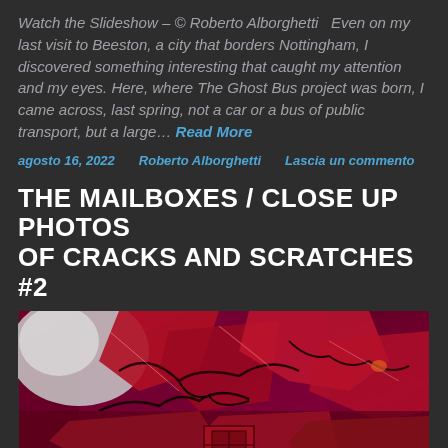Watch the Slideshow – © Roberto Alborghetti  Even on my last visit to Beeston, a city that borders Nottingham, I discovered something interesting that caught my attention and my eyes. Here, where The Ghost Bus project was born, I came across, last spring, not a car or a bus of public transport, but a large… Read More
agosto 16, 2022    Roberto Alborghetti    Lascia un commento
THE MAILBOXES / CLOSE UP PHOTOS OF CRACKS AND SCRATCHES #2
[Figure (photo): Close-up photograph of cracked and scratched red/magenta painted surface of a mailbox, showing peeling paint layers with deep cracks revealing underlying surfaces. Colors are vivid red, magenta, and white.]